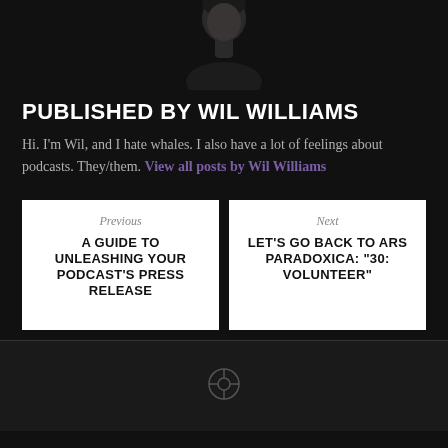[Figure (photo): Top portion of a person's face/shoulders against dark background]
PUBLISHED BY WIL WILLIAMS
Hi. I'm Wil, and I hate whales. I also have a lot of feelings about podcasts. They/them. View all posts by Wil Williams
Previous
A GUIDE TO UNLEASHING YOUR PODCAST'S PRESS RELEASE
Next
LET'S GO BACK TO ARS PARADOXICA: "30: VOLUNTEER"
[Figure (logo): WordPress logo at bottom center]